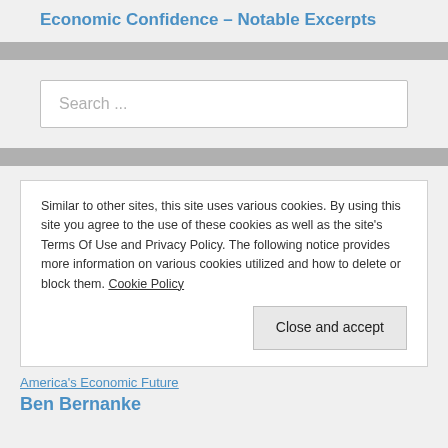Economic Confidence – Notable Excerpts
Search ...
Similar to other sites, this site uses various cookies. By using this site you agree to the use of these cookies as well as the site's Terms Of Use and Privacy Policy. The following notice provides more information on various cookies utilized and how to delete or block them. Cookie Policy
Close and accept
America's Economic Future
Ben Bernanke